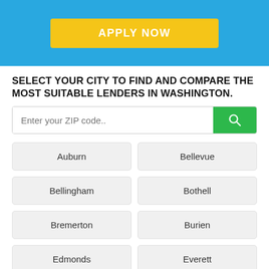[Figure (screenshot): Blue banner with yellow APPLY NOW button]
SELECT YOUR CITY TO FIND AND COMPARE THE MOST SUITABLE LENDERS IN WASHINGTON.
[Figure (screenshot): Search bar with ZIP code placeholder and green search button]
Auburn
Bellevue
Bellingham
Bothell
Bremerton
Burien
Edmonds
Everett
Federal Way
Issaquah
Kennewick
Kent